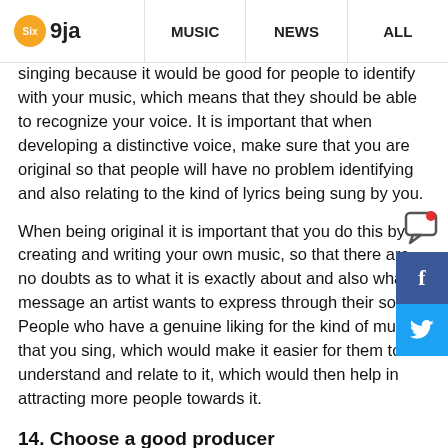Six9ja | MUSIC | NEWS | ALL
singing because it would be good for people to identify with your music, which means that they should be able to recognize your voice. It is important that when developing a distinctive voice, make sure that you are original so that people will have no problem identifying and also relating to the kind of lyrics being sung by you.
When being original it is important that you do this by creating and writing your own music, so that there are no doubts as to what it is exactly about and also what message an artist wants to express through their song. People who have a genuine liking for the kind of music that you sing, which would make it easier for them to understand and relate to it, which would then help in attracting more people towards it.
14. Choose a good producer
One of the ways that you should reach fame is by choosing a